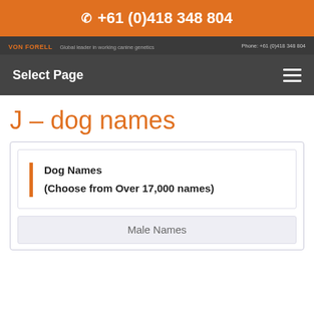+61 (0)418 348 804
VON FORELL  Global leader in working canine genetics  Phone: +61 (0)418 348 804
Select Page
J – dog names
Dog Names
(Choose from Over 17,000 names)
Male Names